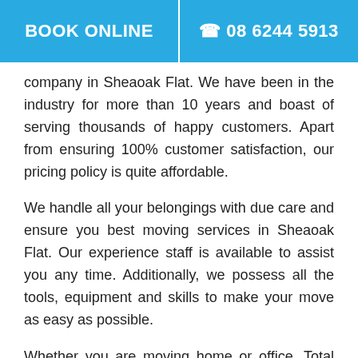BOOK ONLINE | 08 6244 5913
company in Sheaoak Flat. We have been in the industry for more than 10 years and boast of serving thousands of happy customers. Apart from ensuring 100% customer satisfaction, our pricing policy is quite affordable.
We handle all your belongings with due care and ensure you best moving services in Sheaoak Flat. Our experience staff is available to assist you any time. Additionally, we possess all the tools, equipment and skills to make your move as easy as possible.
Whether you are moving home or office, Total Removals is the company that can be counted on for any and every type of move. We are one of the top removalists Sheaoak Flat, owing to our highly efficient